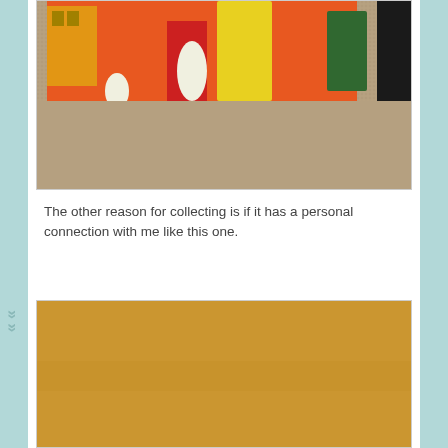[Figure (photo): Partial photo of colorful artwork or album cover showing illustrated figures of people, buildings with orange and yellow colors, placed on a carpet surface. A dark circular object (possibly a vinyl record) is visible in the upper right.]
The other reason for collecting is if it has a personal connection with me like this one.
[Figure (photo): Photo showing a plain tan/brown cardboard or kraft paper surface — appears to be the back or plain side of an item.]